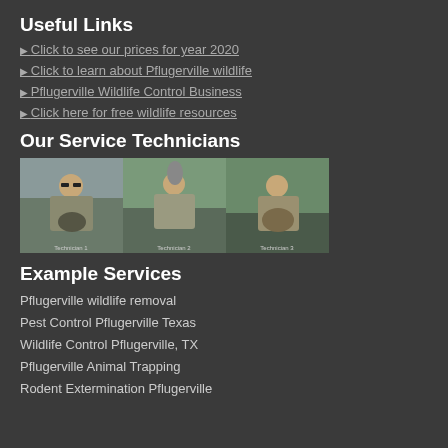Useful Links
Click to see our prices for year 2020
Click to learn about Pflugerville wildlife
Pflugerville Wildlife Control Business
Click here for free wildlife resources
Our Service Technicians
[Figure (photo): Three service technicians in uniform holding wildlife animals]
Example Services
Pflugerville wildlife removal
Pest Control Pflugerville Texas
Wildlife Control Pflugerville, TX
Pflugerville Animal Trapping
Rodent Extermination Pflugerville